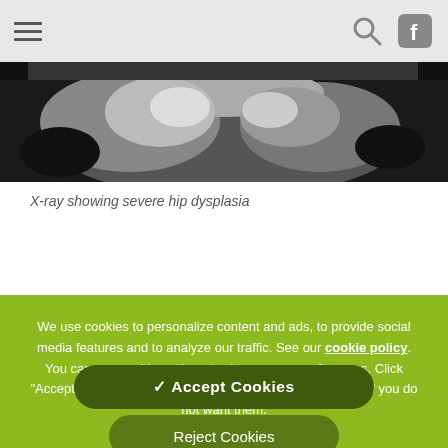Navigation bar with hamburger menu, search icon, and Facebook icon
[Figure (photo): X-ray image showing severe hip dysplasia, grayscale, cropped view of the hip region]
X-ray showing severe hip dysplasia
We use cookies to personalize content and ads, to provide social media features and to analyze our traffic. See our cookie policy. You can use cookie settings to change your preferences. Click "Accept cookies" to enable all cookies, or "Reject cookies" if you do not want them.
✓ Accept Cookies
Reject Cookies